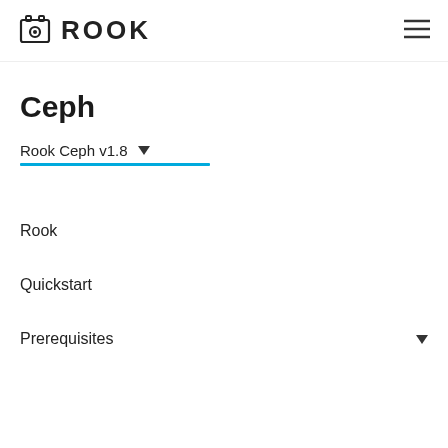ROOK
Ceph
Rook Ceph v1.8 ▼
Rook
Quickstart
Prerequisites